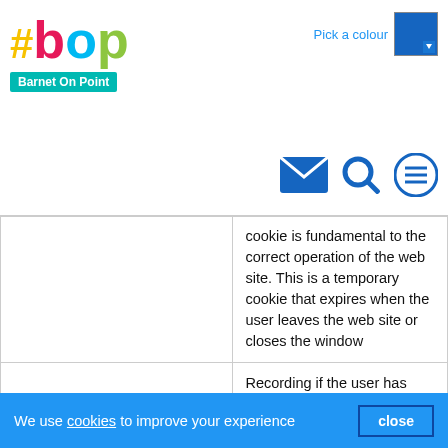[Figure (logo): #bop Barnet On Point logo with colourful letters and teal tag, plus navigation icons (envelope, search, menu) and Pick a colour selector]
| Cookie name | Purpose |
| --- | --- |
|  | cookie is fundamental to the correct operation of the web site. This is a temporary cookie that expires when the user leaves the web site or closes the window |
| cookie_policy_accepted | Recording if the user has clicked accept on the cookies bar. Expires after 7 days |
| _ga | This cookie is used to distinguish users for Google Analytics. It is a more |
We use cookies to improve your experience  close